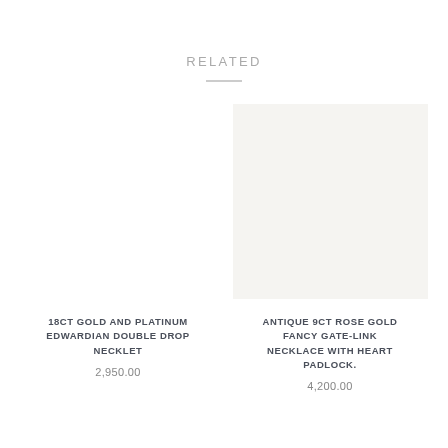RELATED
[Figure (photo): Empty white product image placeholder for 18ct Gold and Platinum Edwardian Double Drop Necklet]
18CT GOLD AND PLATINUM EDWARDIAN DOUBLE DROP NECKLET
2,950.00
[Figure (photo): Light beige/cream product image placeholder for Antique 9ct Rose Gold Fancy Gate-Link Necklace with Heart Padlock]
ANTIQUE 9CT ROSE GOLD FANCY GATE-LINK NECKLACE WITH HEART PADLOCK.
4,200.00